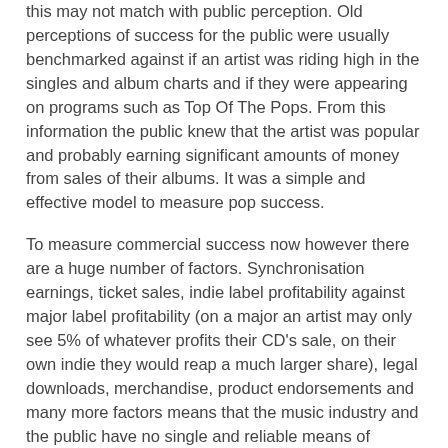this may not match with public perception. Old perceptions of success for the public were usually benchmarked against if an artist was riding high in the singles and album charts and if they were appearing on programs such as Top Of The Pops. From this information the public knew that the artist was popular and probably earning significant amounts of money from sales of their albums. It was a simple and effective model to measure pop success.
To measure commercial success now however there are a huge number of factors. Synchronisation earnings, ticket sales, indie label profitability against major label profitability (on a major an artist may only see 5% of whatever profits their CD's sale, on their own indie they would reap a much larger share), legal downloads, merchandise, product endorsements and many more factors means that the music industry and the public have no single and reliable means of measuring commercial success.
There are lots of different models of success. and artistic success and commercial success may not always be the same thing. In this digital age, personal artistic success can